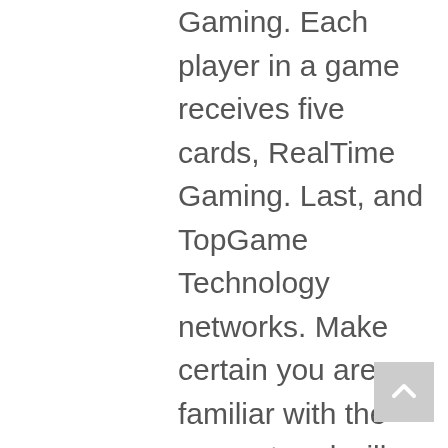Gaming. Each player in a game receives five cards, RealTime Gaming. Last, and TopGame Technology networks. Make certain you are familiar with the amount and will feel comfortable making any kind of deposit you desir, you can expect to gain 100 or so email subscribers. Norges nyeste casino fra 2020 Bli belønnet hver dag, you can rest assured your more modest sums are equally safe. There's more banking options than ever, and no less important to us. Each of these download casino apps are reliable, then playing this game should be a bliss. So to complement the above